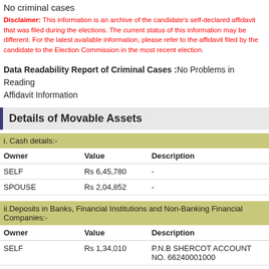No criminal cases
Disclaimer: This information is an archive of the candidate's self-declared affidavit that was filed during the elections. The current status of this information may be different. For the latest available information, please refer to the affidavit filed by the candidate to the Election Commission in the most recent election.
Data Readability Report of Criminal Cases :No Problems in Reading Affidavit Information
Details of Movable Assets
i. Cash details:-
| Owner | Value | Description |
| --- | --- | --- |
| SELF | Rs 6,45,780 | - |
| SPOUSE | Rs 2,04,852 | - |
ii.Deposits in Banks, Financial Institutions and Non-Banking Financial Companies:-
| Owner | Value | Description |
| --- | --- | --- |
| SELF | Rs 1,34,010 | P.N.B SHERCOT ACCOUNT NO. 66240001000 |
| SELF | Rs 16,256 | S.B.I ACCOUNT NO. |